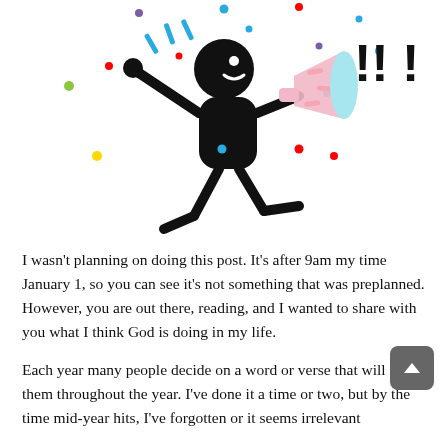[Figure (illustration): Stick figure character running and holding a megaphone/bullhorn, with colorful confetti dots scattered around, and three exclamation marks (!!!) to the right]
I wasn't planning on doing this post. It's after 9am my time January 1, so you can see it's not something that was preplanned. However, you are out there, reading, and I wanted to share with you what I think God is doing in my life.
Each year many people decide on a word or verse that will guide them throughout the year. I've done it a time or two, but by the time mid-year hits, I've forgotten or it seems irrelevant